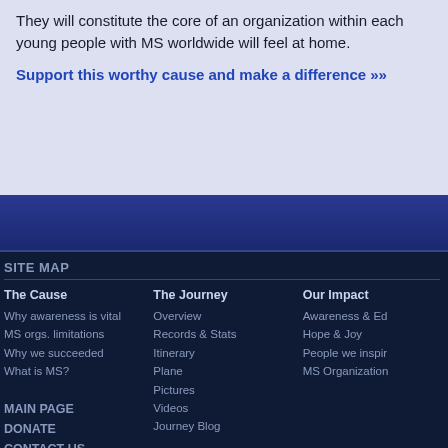They will constitute the core of an organization within each young people with MS worldwide will feel at home.
Support this worthy cause and make a difference »»
SITE MAP
The Cause
Why awareness is vital
MS orgs. limitations
Why we succeeded
What is MS?
MAIN PAGE
DONATE
CONTACT US
The Journey
Overview
Records & Stats
Itinerary
Plane
Pictures
Videos
Journey Blog
Our Impact
Awareness & Ed
Hope & Joy
People we inspir
MS Organization